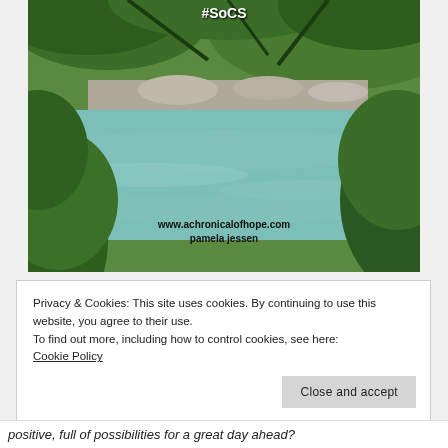[Figure (photo): Nature photo of a turquoise river with rocky banks, framed by green leafy tree branches overhead and dense foliage on both sides. Text overlay shows #SoCS hashtag at top and website/author credit at bottom.]
Privacy & Cookies: This site uses cookies. By continuing to use this website, you agree to their use.
To find out more, including how to control cookies, see here:
Cookie Policy
Close and accept
positive, full of possibilities for a great day ahead?